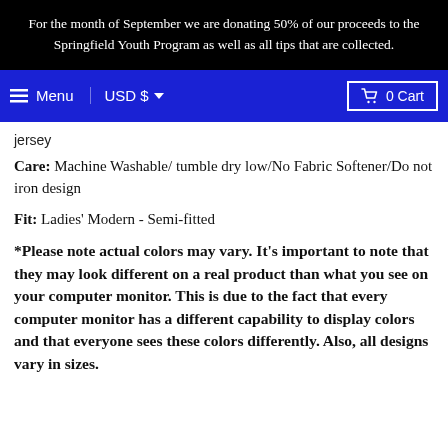For the month of September we are donating 50% of our proceeds to the Springfield Youth Program as well as all tips that are collected.
Menu  USD $  0 Cart
jersey
Care: Machine Washable/ tumble dry low/No Fabric Softener/Do not iron design
Fit: Ladies' Modern - Semi-fitted
*Please note actual colors may vary. It's important to note that they may look different on a real product than what you see on your computer monitor. This is due to the fact that every computer monitor has a different capability to display colors and that everyone sees these colors differently. Also, all designs vary in sizes.